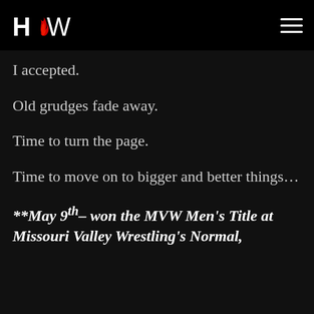HOW logo and navigation
I accepted.
Old grudges fade away.
Time to turn the page.
Time to move on to bigger and better things…
**May 9th – won the MVW Men's Title at Missouri Valley Wrestling's Normal,